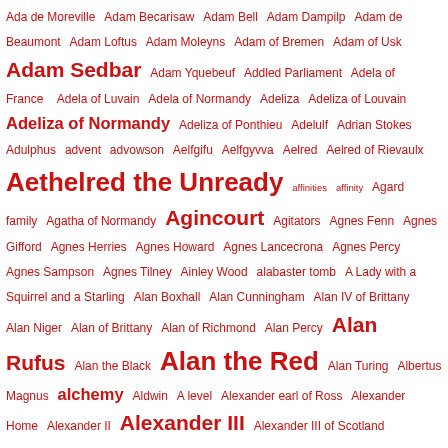Ada de Moreville Adam Becarisaw Adam Bell Adam Dampilp Adam de Beaumont Adam Loftus Adam Moleyns Adam of Bremen Adam of Usk Adam Sedbar Adam Yquebeuf Addled Parliament Adela of France Adela of Luvain Adela of Normandy Adeliza Adeliza of Louvain Adeliza of Normandy Adeliza of Ponthieu Adelulf Adrian Stokes Adulphus advent advowson Aelfgifu Aelfgyvva Aelred Aelred of Rievaulx Aethelred the Unready affinities affinity Agard family Agatha of Normandy Agincourt Agitators Agnes Fenn Agnes Gifford Agnes Herries Agnes Howard Agnes Lancecrona Agnes Percy Agnes Sampson Agnes Tilney Ainley Wood alabaster tomb A Lady with a Squirrel and a Starling Alan Boxhall Alan Cunningham Alan IV of Brittany Alan Niger Alan of Brittany Alan of Richmond Alan Percy Alan Rufus Alan the Black Alan the Red Alan Turing Albertus Magnus alchemy Aldwin A level Alexander earl of Ross Alexander Home Alexander II Alexander III Alexander III of Scotland Alexander II of Scotland Alexios Comnenos Alfred Algernon Percy Alice Chaucer Alice de Brotherton Alice de Béthune Alice de Lacy Alice de la Pole Alice de Lucy Alice de Lusignan Alice de Romille Alice de Romilly Alice Fitzwarren Alice Flaner Alice Hales Alice Holland